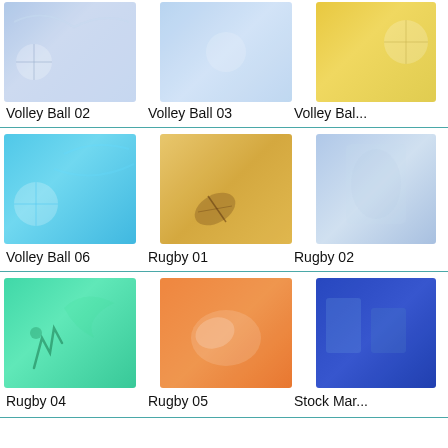[Figure (photo): Volleyball image thumbnail - Volley Ball 02, light blue/purple tones]
Volley Ball 02
[Figure (photo): Volleyball image thumbnail - Volley Ball 03, light blue tones]
Volley Ball 03
[Figure (photo): Volleyball image thumbnail - Volley Ball (04), gold/yellow tones, partially visible]
Volley Ball 0...
[Figure (photo): Volleyball image thumbnail - Volley Ball 06, cyan/blue tones]
Volley Ball 06
[Figure (photo): Rugby image thumbnail - Rugby 01, orange/tan tones with rugby ball]
Rugby 01
[Figure (photo): Rugby image thumbnail - Rugby 02, light blue tones with player]
Rugby 02
[Figure (photo): Rugby image thumbnail - Rugby 04, teal/green tones with player]
Rugby 04
[Figure (photo): Rugby image thumbnail - Rugby 05, orange tones with ball]
Rugby 05
[Figure (photo): Stock Market image thumbnail, dark blue tones, partially visible]
Stock Mar...